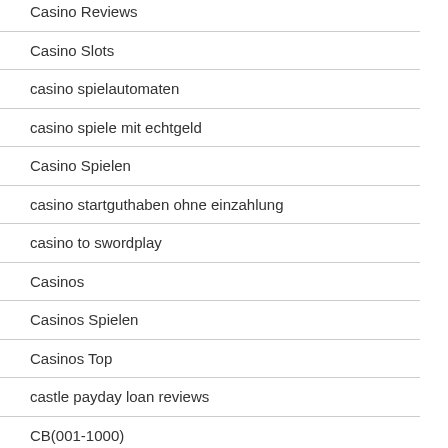Casino Reviews
Casino Slots
casino spielautomaten
casino spiele mit echtgeld
Casino Spielen
casino startguthaben ohne einzahlung
casino to swordplay
Casinos
Casinos Spielen
Casinos Top
castle payday loan reviews
CB(001-1000)